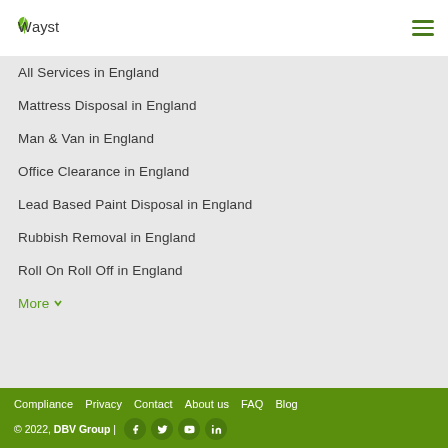Wayst
All Services in England
Mattress Disposal in England
Man & Van in England
Office Clearance in England
Lead Based Paint Disposal in England
Rubbish Removal in England
Roll On Roll Off in England
More
Compliance | Privacy | Contact | About us | FAQ | Blog | © 2022, DBV Group |